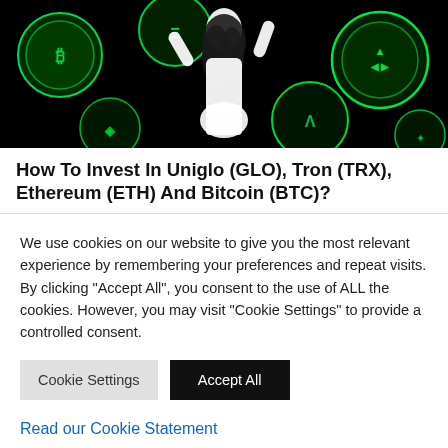[Figure (photo): Woman in white dress standing with arms raised surrounded by glowing green cryptocurrency coins on black background]
How To Invest In Uniglo (GLO), Tron (TRX), Ethereum (ETH) And Bitcoin (BTC)?
We use cookies on our website to give you the most relevant experience by remembering your preferences and repeat visits. By clicking "Accept All", you consent to the use of ALL the cookies. However, you may visit "Cookie Settings" to provide a controlled consent.
Cookie Settings | Accept All
Read our Cookie Statement